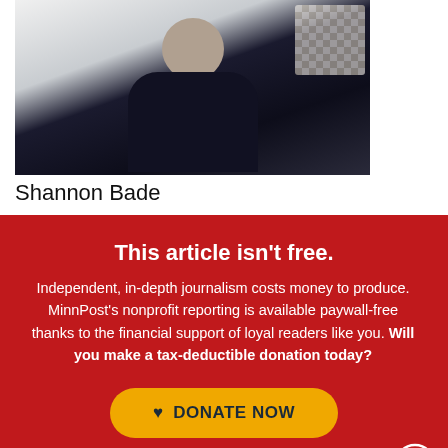[Figure (photo): Photo of a person named Shannon Bade wearing a dark top, standing in front of a white wall with a decorative pattern visible.]
Shannon Bade
This article isn't free.
Independent, in-depth journalism costs money to produce. MinnPost's nonprofit reporting is available paywall-free thanks to the financial support of loyal readers like you. Will you make a tax-deductible donation today?